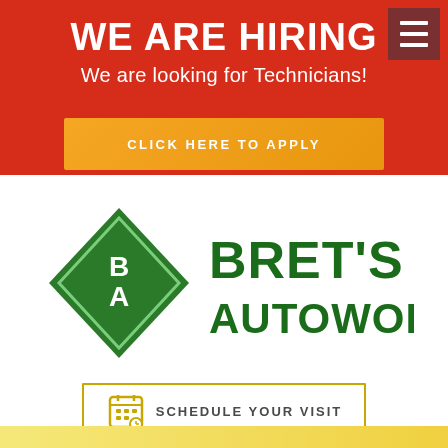WE ARE HIRING
We are looking for Technicians!
CLICK HERE TO APPLY
[Figure (logo): Bret's Autoworks logo: green diamond shape with BA initials, next to green bold text BRET'S AUTOWORKS]
SCHEDULE YOUR VISIT